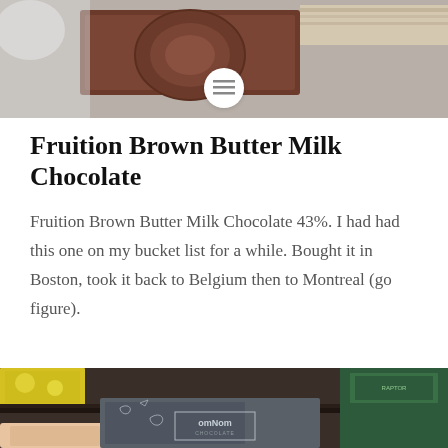[Figure (photo): Top photo showing chocolate bars and packaging on a wooden surface, with a circular menu icon overlay in the center]
Fruition Brown Butter Milk Chocolate
Fruition Brown Butter Milk Chocolate 43%. I had had this one on my bucket list for a while. Bought it in Boston, took it back to Belgium then to Montreal (go figure).
[Figure (photo): Bottom photo showing a hand holding an omNom Chocolate bar with illustrated bird/fish designs on dark grey packaging, with colorful chocolate boxes in background]